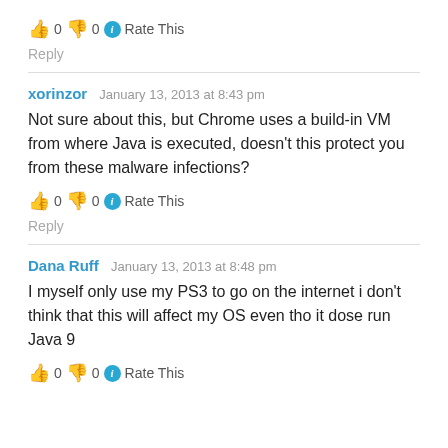👍 0 👎 0 ℹ Rate This
Reply
xorinzor   January 13, 2013 at 8:43 pm
Not sure about this, but Chrome uses a build-in VM from where Java is executed, doesn't this protect you from these malware infections?
👍 0 👎 0 ℹ Rate This
Reply
Dana Ruff   January 13, 2013 at 8:48 pm
I myself only use my PS3 to go on the internet i don't think that this will affect my OS even tho it dose run Java 9
👍 0 👎 0 ℹ Rate This